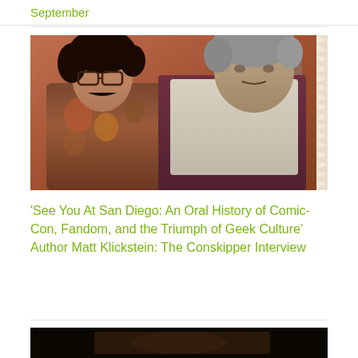September
[Figure (photo): Two men posing together in a vintage photograph. The man on the left has dark curly hair, glasses, and a mustache wearing a patterned shirt. The man on the right has grey/white hair wearing a light-colored vest. Photo has a serrated/perforated right edge suggesting a film strip or album photo.]
'See You At San Diego: An Oral History of Comic-Con, Fandom, and the Triumph of Geek Culture' Author Matt Klickstein: The Conskipper Interview
[Figure (photo): Dark partially visible image, appears to be a second article thumbnail at the bottom of the page.]